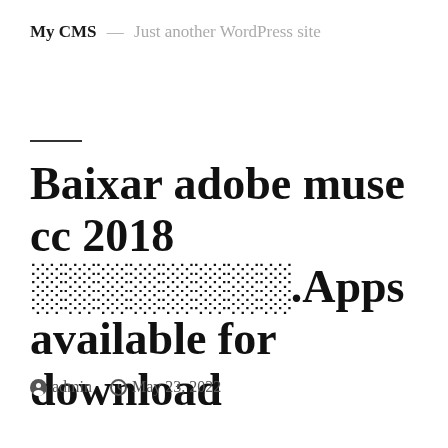My CMS — Just another WordPress site
Baixar adobe muse cc 2018 ░░░░░░░░.Apps available for download
admin  May 23, 2022